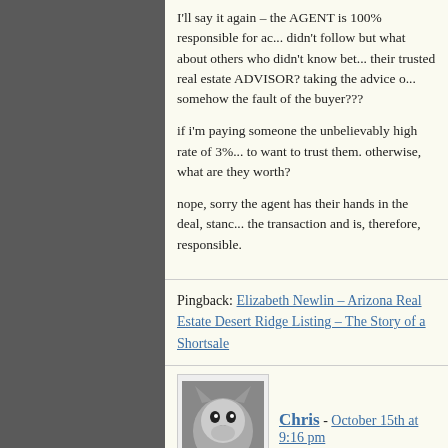I'll say it again – the AGENT is 100% responsible for ac... didn't follow but what about others who didn't know bet... their trusted real estate ADVISOR? taking the advice o... somehow the fault of the buyer???
if i'm paying someone the unbelievably high rate of 3%... to want to trust them. otherwise, what are they worth?
nope, sorry the agent has their hands in the deal, stanc... the transaction and is, therefore, responsible.
Pingback: Elizabeth Newlin – Arizona Real Estate Desert Ridge Listing – The Story of a Shortsale
[Figure (photo): Black and white photo of a dog (appears to be a husky or similar breed) used as commenter avatar for Chris]
Chris - October 15th at 9:16 pm
Elizabeth,
This is a gray area. In my opinion, it's up to the bank an...